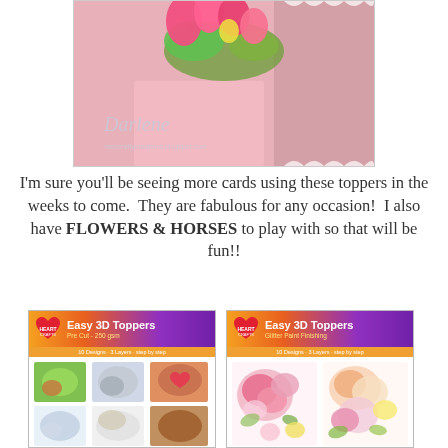[Figure (photo): A crafted pink floral card with tulips and roses, featuring watermark signature 'Darlene' and URL darscraftycreations.blogspot.com]
I'm sure you'll be seeing more cards using these toppers in the weeks to come.  They are fabulous for any occasion!  I also have FLOWERS & HORSES to play with so that will be fun!!
[Figure (photo): Heart Crafts Easy 3D Toppers product sheet showing horses designs - Pre Cut 250 gsm, 10 Designs 3 Layers step by step]
[Figure (photo): Heart Crafts Easy 3D Toppers product sheet showing flowers/roses designs - Glitter Paint Finishing, 10 Designs 3 Layers step by step]